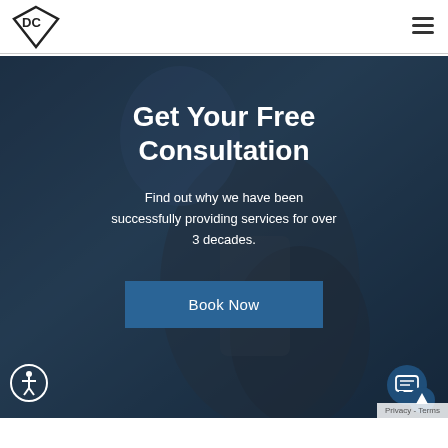[Figure (logo): Diamond Chiropractic logo with DC diamond shape and text]
[Figure (other): Hamburger menu icon (three horizontal lines)]
[Figure (photo): Dark hero background photo showing a person holding a smartphone, overlaid with dark blue tint]
Get Your Free Consultation
Find out why we have been successfully providing services for over 3 decades.
Book Now
[Figure (other): Accessibility icon - circle with human figure]
[Figure (other): Chat bubble icon in dark blue circle]
Privacy - Terms